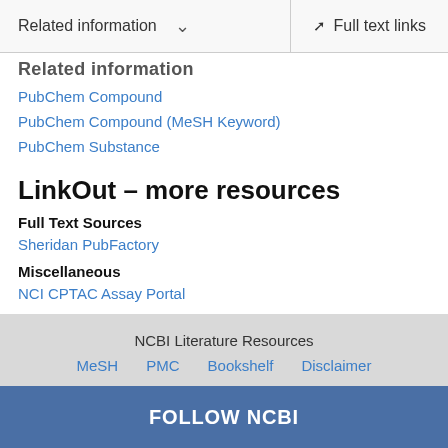Related information   Full text links
Related information
PubChem Compound
PubChem Compound (MeSH Keyword)
PubChem Substance
LinkOut – more resources
Full Text Sources
Sheridan PubFactory
Miscellaneous
NCI CPTAC Assay Portal
NCBI Literature Resources   MeSH   PMC   Bookshelf   Disclaimer
FOLLOW NCBI